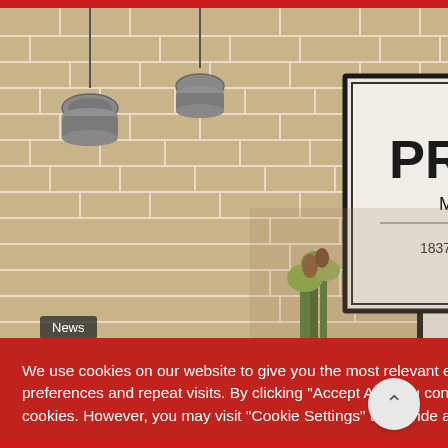[Figure (photo): Interior room with exposed brick wall, two hanging metallic pendant lamps, green plant with flowers, and a framed Prada Marfa art print showing 'PRADA MARFA 1837 MI' with an arrow pointing right.]
News
We use cookies on our website to give you the most relevant experience by remembering your preferences and repeat visits. By clicking “Accept All”, you consent to the use of ALL the cookies. However, you may visit “Cookie Settings” to provide a controlled consent.
Cookie Settings
Accept All